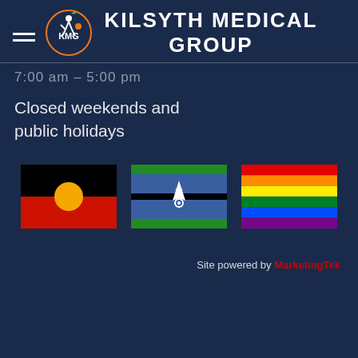KILSYTH MEDICAL GROUP
7:00 am – 5:00 pm
Closed weekends and public holidays
[Figure (illustration): Three flags side by side: Australian Aboriginal Flag (black top, red bottom, yellow circle), Torres Strait Islander Flag (blue with green stripes and white symbol), and Rainbow Pride Flag (red, orange, yellow, green, blue, purple stripes)]
Site powered by MarketingTek